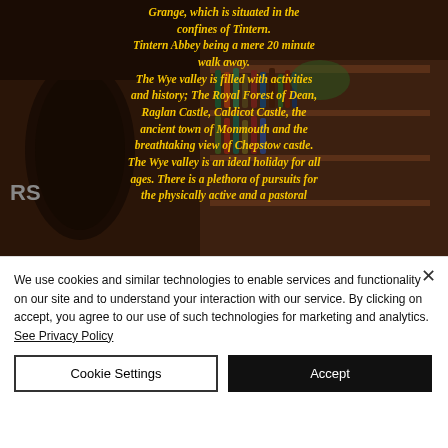[Figure (photo): A dark interior photo of a bar/pub with shelves of bottles visible. Overlaid with yellow italic bold text describing the Wye Valley area including Tintern Abbey, Royal Forest of Dean, Raglan Castle, Caldicot Castle, the ancient town of Monmouth and Chepstow castle.]
We use cookies and similar technologies to enable services and functionality on our site and to understand your interaction with our service. By clicking on accept, you agree to our use of such technologies for marketing and analytics. See Privacy Policy
Cookie Settings
Accept